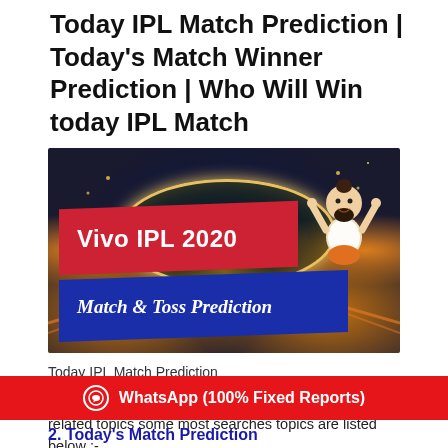Today IPL Match Prediction | Today's Match Winner Prediction | Who Will Win today IPL Match
[Figure (illustration): Vivo IPL 2020 Match & Toss Prediction promotional banner with aerial view of a cricket stadium at night, red banner reading 'Vivo IPL 2020', blue banner reading 'Match & Toss Prediction', and a cartoon yogi character on the right.]
Today IPL Match Prediction
In this BLOG we are discuss all prediction reports related topics some most searches topics are listed below :-
WhatsApp (100% Fixed Reports)
2. Today's Match Prediction